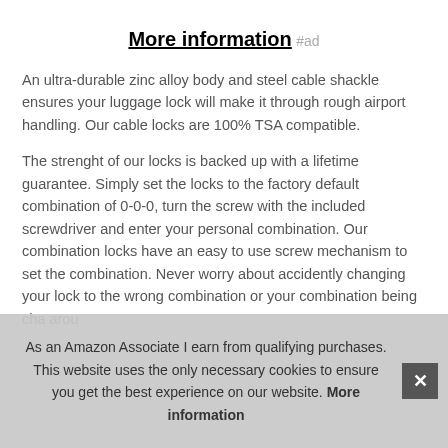More information #ad
An ultra-durable zinc alloy body and steel cable shackle ensures your luggage lock will make it through rough airport handling. Our cable locks are 100% TSA compatible.
The strenght of our locks is backed up with a lifetime guarantee. Simply set the locks to the factory default combination of 0-0-0, turn the screw with the included screwdriver and enter your personal combination. Our combination locks have an easy to use screw mechanism to set the combination. Never worry about accidently changing your lock to the wrong combination or your combination being cha... arou...
As an Amazon Associate I earn from qualifying purchases. This website uses the only necessary cookies to ensure you get the best experience on our website. More information